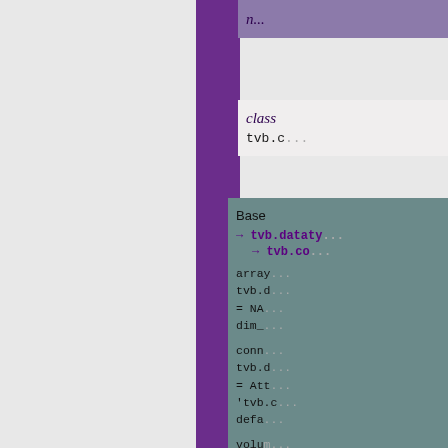n...
class
tvb.c...
Base → tvb.datatypes... → tvb.co... array... tvb.d... = NA... dim_... conn... tvb.d... = Att... 'tvb.c... defa... volum... tvb.d... = Att...